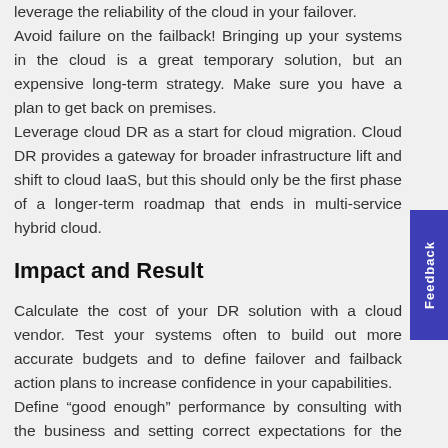leverage the reliability of the cloud in your failover. Avoid failure on the failback! Bringing up your systems in the cloud is a great temporary solution, but an expensive long-term strategy. Make sure you have a plan to get back on premises. Leverage cloud DR as a start for cloud migration. Cloud DR provides a gateway for broader infrastructure lift and shift to cloud IaaS, but this should only be the first phase of a longer-term roadmap that ends in multi-service hybrid cloud.
Impact and Result
Calculate the cost of your DR solution with a cloud vendor. Test your systems often to build out more accurate budgets and to define failover and failback action plans to increase confidence in your capabilities. Define “good enough” performance by consulting with the business and setting correct expectations for the recovery